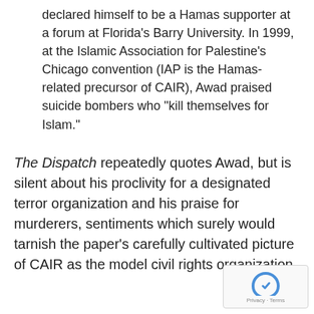declared himself to be a Hamas supporter at a forum at Florida's Barry University. In 1999, at the Islamic Association for Palestine's Chicago convention (IAP is the Hamas-related precursor of CAIR), Awad praised suicide bombers who "kill themselves for Islam."
The Dispatch repeatedly quotes Awad, but is silent about his proclivity for a designated terror organization and his praise for murderers, sentiments which surely would tarnish the paper's carefully cultivated picture of CAIR as the model civil rights organization.
[Figure (logo): reCAPTCHA badge with Privacy and Terms links]